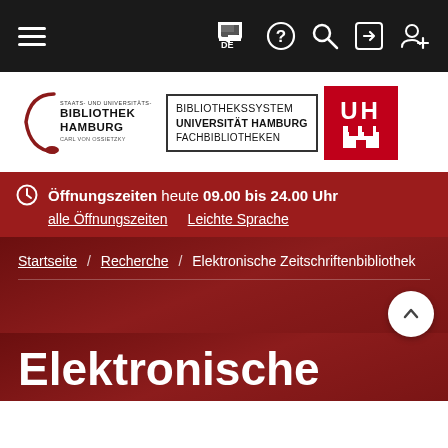Navigation bar with hamburger menu, flag/DE, help, search, login, register icons
[Figure (logo): Staats- und Universitätsbibliothek Hamburg Carl von Ossietzky logo (left), Bibliothekssystem Universität Hamburg Fachbibliotheken box logo (center), UH Hamburg university logo red square (right)]
Öffnungszeiten heute 09.00 bis 24.00 Uhr
alle Öffnungszeiten   Leichte Sprache
Startseite / Recherche / Elektronische Zeitschriftenbibliothek
Elektronische